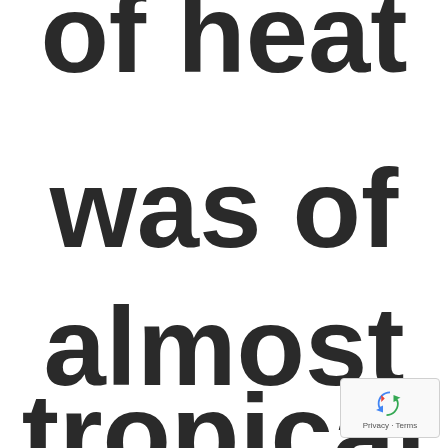of heat was of almost tropical
[Figure (logo): Google reCAPTCHA badge with recycling arrows icon and 'Privacy - Terms' text]